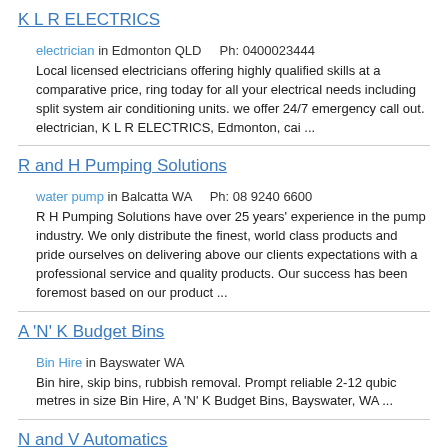K L R ELECTRICS
electrician in Edmonton QLD    Ph: 0400023444
Local licensed electricians offering highly qualified skills at a comparative price, ring today for all your electrical needs including split system air conditioning units. we offer 24/7 emergency call out. electrician, K L R ELECTRICS, Edmonton, cai ...
R and H Pumping Solutions
water pump in Balcatta WA    Ph: 08 9240 6600
R H Pumping Solutions have over 25 years' experience in the pump industry. We only distribute the finest, world class products and pride ourselves on delivering above our clients expectations with a professional service and quality products. Our success has been foremost based on our product ...
A 'N' K Budget Bins
Bin Hire in Bayswater WA
Bin hire, skip bins, rubbish removal. Prompt reliable 2-12 qubic metres in size Bin Hire, A 'N' K Budget Bins, Bayswater, WA ...
N and V Automatics
Automotive repairs in Seaford VIC    Ph: 03 9773 6101
·General Mechanical Repairs Automotive repairs, N and V Automatics, Seaford, VIC ...